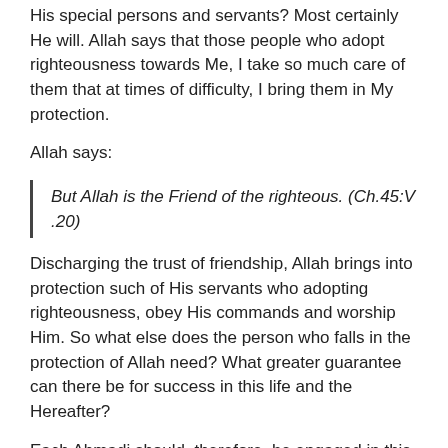His special persons and servants? Most certainly He will. Allah says that those people who adopt righteousness towards Me, I take so much care of them that at times of difficulty, I bring them in My protection.
Allah says:
But Allah is the Friend of the righteous. (Ch.45:V.20)
Discharging the trust of friendship, Allah brings into protection such of His servants who adopting righteousness, obey His commands and worship Him. So what else does the person who falls in the protection of Allah need? What greater guarantee can there be for success in this life and the Hereafter?
Each Ahmadi should, therefore, be engaged in this serious thinking as to what he needs to do in order to gain nearness to Allah, to attain His happiness, to fall in His protection and to make Allah his companion and